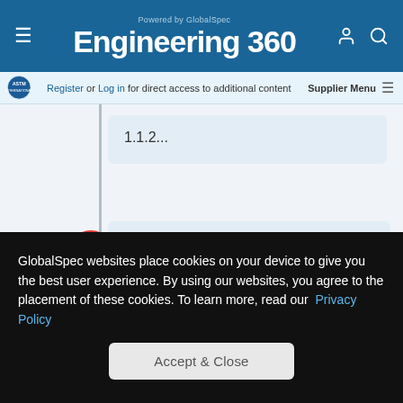Engineering 360 — Powered by GlobalSpec
Register or Log in for direct access to additional content   Supplier Menu
1.1.2...
ASTM A262-15   September 1, 2015
Standard Practices for Detecting Susceptibility to Intergranular Attack in Austenitic Stainless Steels
GlobalSpec websites place cookies on your device to give you the best user experience. By using our websites, you agree to the placement of these cookies. To learn more, read our Privacy Policy
Accept & Close